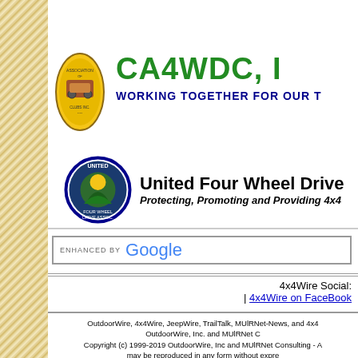[Figure (logo): CA4WDC Inc. Association of Four Wheel Drive Clubs logo - circular badge with off-road vehicle imagery]
CA4WDC, I
WORKING TOGETHER FOR OUR T
[Figure (logo): United Four Wheel Drive Association logo - circular badge with tree and mountain scenery]
United Four Wheel Drive
Protecting, Promoting and Providing 4x4
[Figure (screenshot): ENHANCED BY Google search bar]
4x4Wire Social:
| 4x4Wire on FaceBook
OutdoorWire, 4x4Wire, JeepWire, TrailTalk, MUlRNet-News, and 4x4
OutdoorWire, Inc. and MUlRNet C
Copyright (c) 1999-2019 OutdoorWire, Inc and MUlRNet Consulting - A
may be reproduced in any form without expre